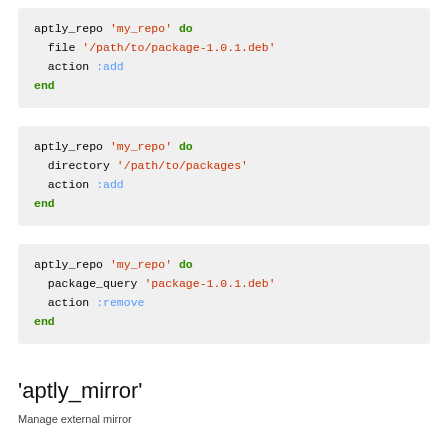aptly_repo 'my_repo' do
  file '/path/to/package-1.0.1.deb'
  action :add
end
aptly_repo 'my_repo' do
  directory '/path/to/packages'
  action :add
end
aptly_repo 'my_repo' do
  package_query 'package-1.0.1.deb'
  action :remove
end
'aptly_mirror'
Manage external mirror